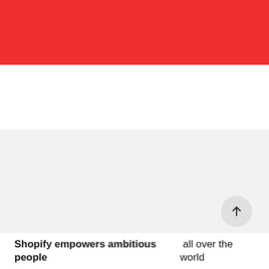[Figure (other): Red banner header stripe at top of page]
[Figure (other): Large light gray content area below the red banner with a circular scroll-to-top button in the bottom-right corner containing an upward arrow]
Shopify empowers ambitious people all over the world